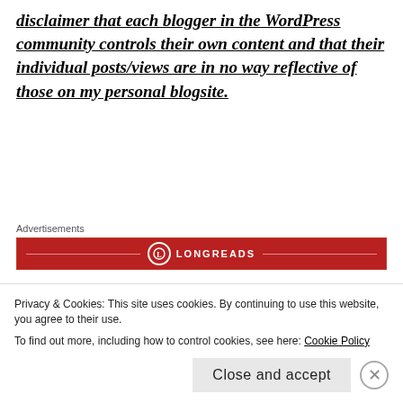disclaimer that each blogger in the WordPress community controls their own content and that their individual posts/views are in no way reflective of those on my personal blogsite.
Advertisements
[Figure (logo): Longreads advertisement banner — red background with Longreads logo and name in white text centered, flanked by horizontal lines]
Now that all of the semantics are out of the way, let’s get to some writing or photos for today’s word prompt,
Privacy & Cookies: This site uses cookies. By continuing to use this website, you agree to their use. To find out more, including how to control cookies, see here: Cookie Policy